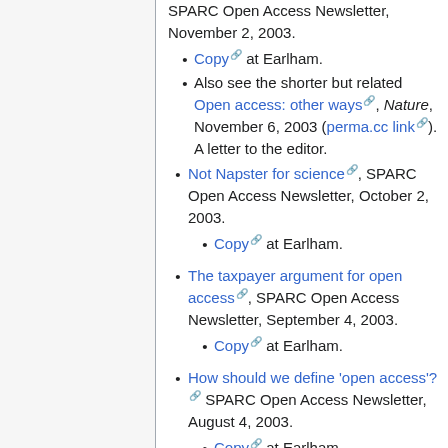SPARC Open Access Newsletter, November 2, 2003.
Copy at Earlham.
Also see the shorter but related Open access: other ways, Nature, November 6, 2003 (perma.cc link). A letter to the editor.
Not Napster for science, SPARC Open Access Newsletter, October 2, 2003.
Copy at Earlham.
The taxpayer argument for open access, SPARC Open Access Newsletter, September 4, 2003.
Copy at Earlham.
How should we define 'open access'? SPARC Open Access Newsletter, August 4, 2003.
Copy at Earlham.